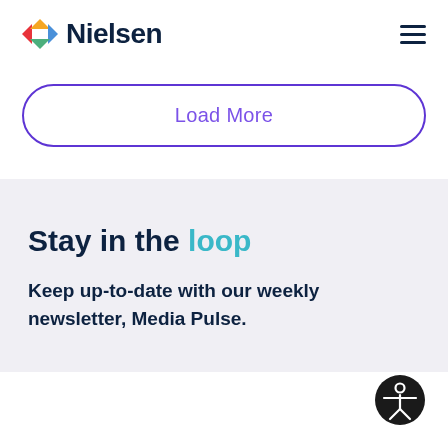Nielsen
Load More
Stay in the loop
Keep up-to-date with our weekly newsletter, Media Pulse.
[Figure (illustration): Accessibility icon button (person in circle)]